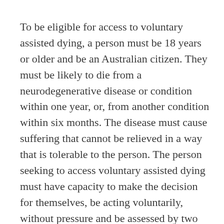To be eligible for access to voluntary assisted dying, a person must be 18 years or older and be an Australian citizen. They must be likely to die from a neurodegenerative disease or condition within one year, or, from another condition within six months. The disease must cause suffering that cannot be relieved in a way that is tolerable to the person. The person seeking to access voluntary assisted dying must have capacity to make the decision for themselves, be acting voluntarily, without pressure and be assessed by two medical practitioners.
It should be noted that there are restrictions on health care workers initiating discussions about